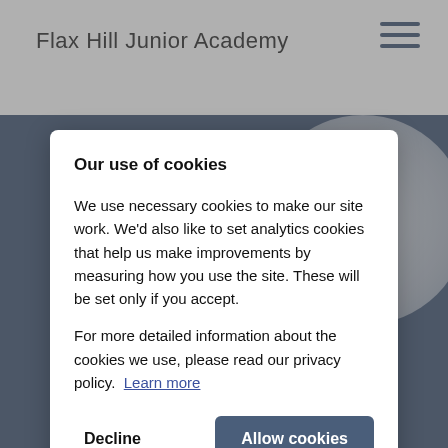Flax Hill Junior Academy
Our use of cookies
We use necessary cookies to make our site work. We'd also like to set analytics cookies that help us make improvements by measuring how you use the site. These will be set only if you accept.
For more detailed information about the cookies we use, please read our privacy policy.  Learn more
Decline
Allow cookies